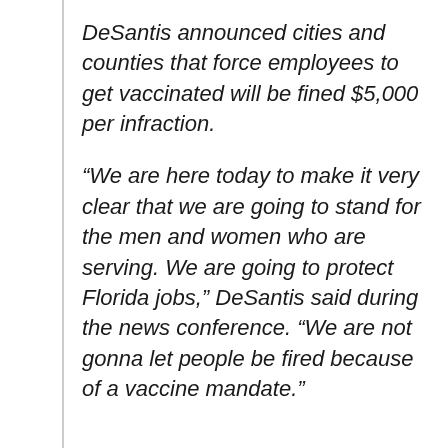DeSantis announced cities and counties that force employees to get vaccinated will be fined $5,000 per infraction.
“We are here today to make it very clear that we are going to stand for the men and women who are serving. We are going to protect Florida jobs,” DeSantis said during the news conference. “We are not gonna let people be fired because of a vaccine mandate.”